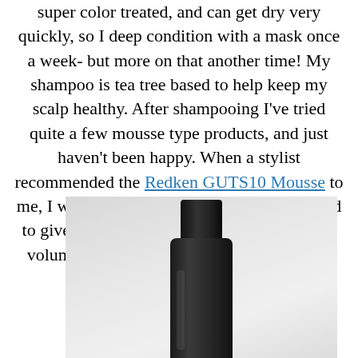super color treated, and can get dry very quickly, so I deep condition with a mask once a week- but more on that another time! My shampoo is tea tree based to help keep my scalp healthy. After shampooing I've tried quite a few mousse type products, and just haven't been happy. When a stylist recommended the Redken GUTS10 Mousse to me, I was hesitant at first, but happy I decided to give it a try! I felt I needed way more root volume, and she insisted this would deliver just that.
[Figure (photo): Photo of a dark/black bottle of Redken GUTS10 Mousse product against a light gray/white background, showing the top cap and upper body of the bottle]